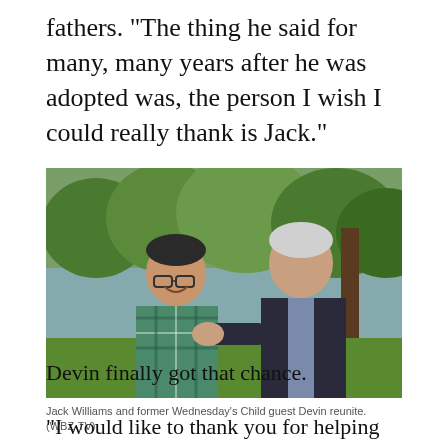fathers. "The thing he said for many, many years after he was adopted was, the person I wish I could really thank is Jack."
[Figure (photo): Jack Williams and former Wednesday's Child guest Devin reunite outdoors near a river with trees in the background. A younger man in a plaid shirt smiles while an older man in a dark suit gestures toward him.]
Jack Williams and former Wednesday's Child guest Devin reunite. (WBZ-TV)
Devin finally got that chance.
"I would like to thank you for helping me out to find